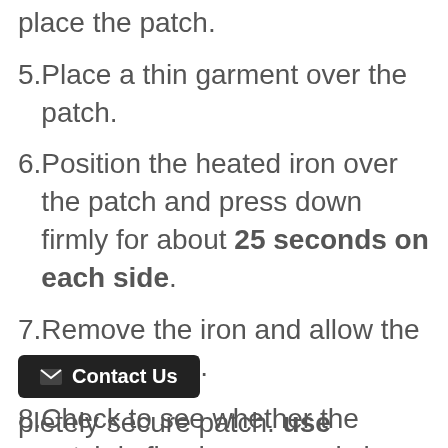place the patch.
5. Place a thin garment over the patch.
6. Position the heated iron over the patch and press down firmly for about 25 seconds on each side.
7. Remove the iron and allow the patch to cool.
8. Check to see whether the patch is fixed on securely by gently rubbing at the edge with a finger. If it lifts up a bit, repeat the process.
pletely secure patch. use